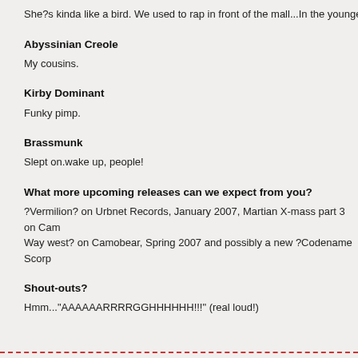She?s kinda like a bird. We used to rap in front of the mall...In the younger day
Abyssinian Creole
My cousins.
Kirby Dominant
Funky pimp.
Brassmunk
Slept on.wake up, people!
What more upcoming releases can we expect from you?
?Vermilion? on Urbnet Records, January 2007, Martian X-mass part 3 on Cam
Way west? on Camobear, Spring 2007 and possibly a new ?Codename Scorp
Shout-outs?
Hmm..."AAAAAARRRRGGHHHHHH!!!" (real loud!)